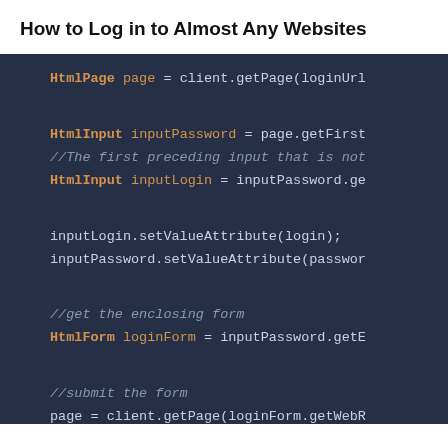How to Log in to Almost Any Websites
[Figure (screenshot): Code snippet in dark-themed editor showing Java code for logging in to websites. Code includes HtmlPage, HtmlInput, HtmlForm objects, setValueAttribute calls, and comments about getting enclosing form and submitting the form.]